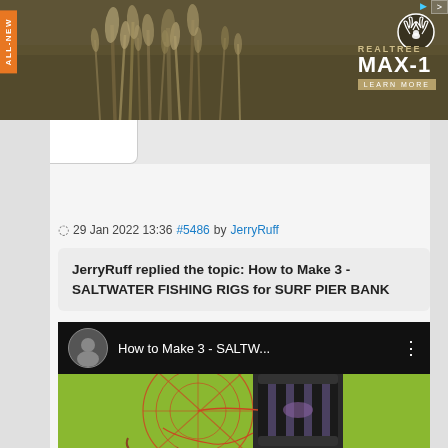[Figure (photo): Realtree MAX-1 camouflage banner advertisement with orange ALL-NEW tab on the left side and Realtree MAX-1 logo with antler icon and LEARN MORE button on the right. Dark background with dry grass/reeds imagery.]
29 Jan 2022 13:36 #5486 by JerryRuff
JerryRuff replied the topic: How to Make 3 - SALTWATER FISHING RIGS for SURF PIER BANK
[Figure (screenshot): YouTube video thumbnail showing 'How to Make 3 - SALTW...' with a profile avatar on the left and three-dot menu on the right. Below the top bar is a fishing rig on a green background with a spool/reel device and red string/line arrangement in a circular pattern.]